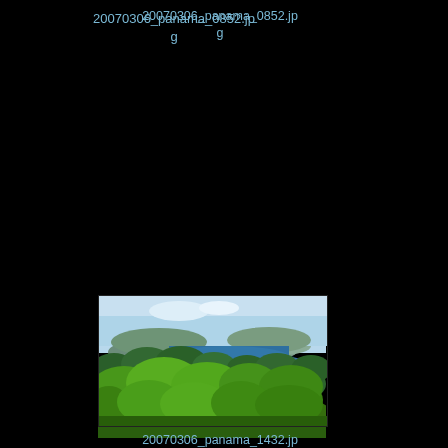20070306_panama_0852.jpg
[Figure (photo): Aerial view of lush green rainforest canopy with a blue lake or river visible in the middle distance, and mountains in the background under a partly cloudy sky — Panama landscape photo]
20070306_panama_1432.jpg
[Figure (photo): Partial view of another Panama landscape photo at the bottom of the page, partially cut off]